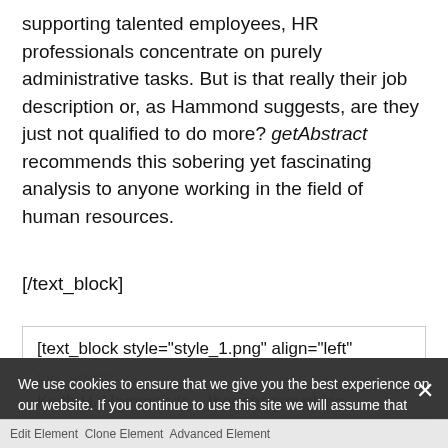supporting talented employees, HR professionals concentrate on purely administrative tasks. But is that really their job description or, as Hammond suggests, are they just not qualified to do more? getAbstract recommends this sobering yet fascinating analysis to anyone working in the field of human resources.
[/text_block]
[text_block style="style_1.png" align="left"
Keith H. Hammonds... thought-provoking arguments about the role human resource (HR) officers should be playing at their companies. Employees are often unhappy with their company's HR department. Instead of being...
We use cookies to ensure that we give you the best experience on our website. If you continue to use this site we will assume that you are happy with it.
Ok   Privacy policy
Edit Element Clone Element Advanced Element